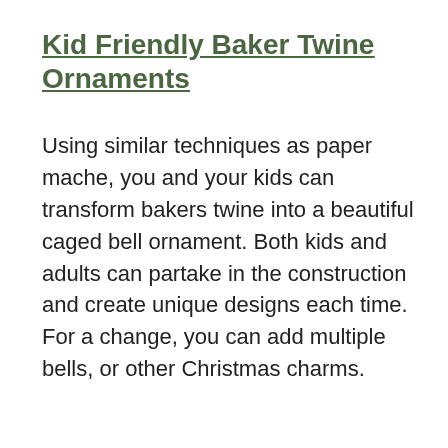Kid Friendly Baker Twine Ornaments
Using similar techniques as paper mache, you and your kids can transform bakers twine into a beautiful caged bell ornament. Both kids and adults can partake in the construction and create unique designs each time. For a change, you can add multiple bells, or other Christmas charms.